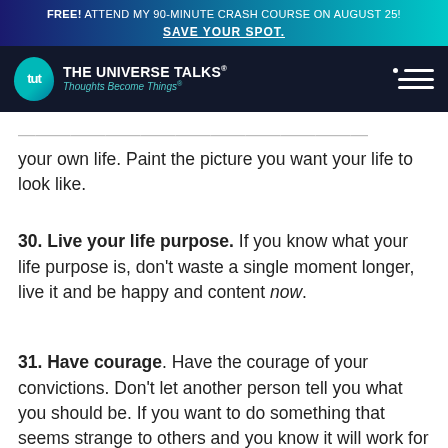FREE! ATTEND MY 90-MINUTE CRASH COURSE ON AUGUST 25! SAVE YOUR SPOT.
[Figure (logo): The Universe Talks logo with tut icon and tagline Thoughts Become Things]
your own life. Paint the picture you want your life to look like.
30. Live your life purpose. If you know what your life purpose is, don't waste a single moment longer, live it and be happy and content now.
31. Have courage. Have the courage of your convictions. Don't let another person tell you what you should be. If you want to do something that seems strange to others and you know it will work for you, then be courageous and do it!